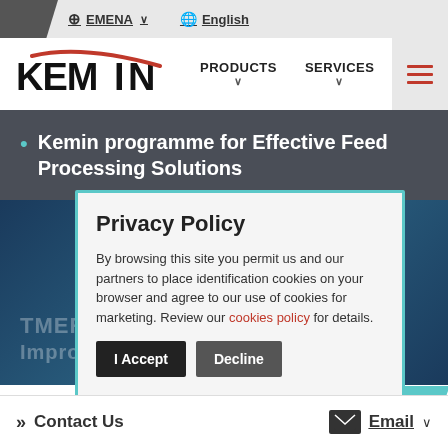EMENA  English
[Figure (logo): Kemin logo with red swoosh above the letters]
PRODUCTS  SERVICES  Navigation menu
• Kemin programme for Effective Feed Processing Solutions
Privacy Policy
By browsing this site you permit us and our partners to place identification cookies on your browser and agree to our use of cookies for marketing. Review our cookies policy for details.
I Accept  Decline
>> Contact Us   Email